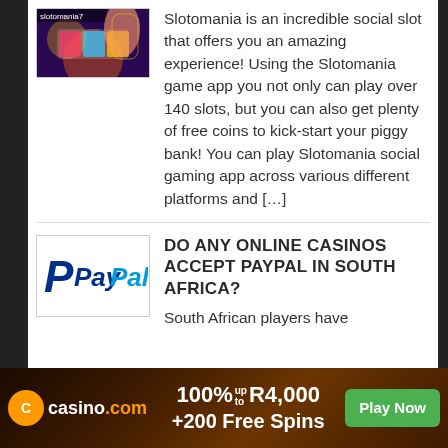[Figure (screenshot): Slotomania game app thumbnail with colorful slot machine imagery and 'slotomania7' text]
Slotomania is an incredible social slot that offers you an amazing experience! Using the Slotomania game app you not only can play over 140 slots, but you can also get plenty of free coins to kick-start your piggy bank! You can play Slotomania social gaming app across various different platforms and […]
[Figure (logo): PayPal logo with blue P icon and PayPal text in blue]
DO ANY ONLINE CASINOS ACCEPT PAYPAL IN SOUTH AFRICA?
South African players have
[Figure (screenshot): Casino.com advertisement banner: 100% up to R4,000 + 200 Free Spins, Play Now button]